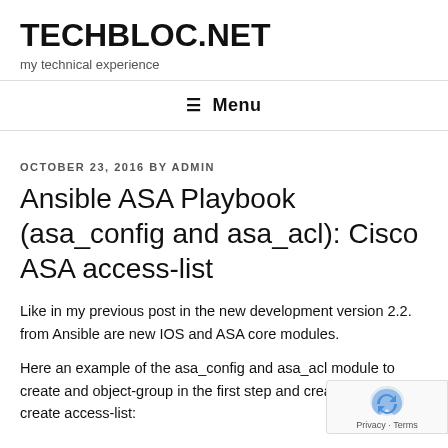TECHBLOC.NET
my technical experience
≡ Menu
OCTOBER 23, 2016 BY ADMIN
Ansible ASA Playbook (asa_config and asa_acl): Cisco ASA access-list
Like in my previous post in the new development version 2.2. from Ansible are new IOS and ASA core modules.
Here an example of the asa_config and asa_acl module to create and object-group in the first step and crea the inside create access-list: